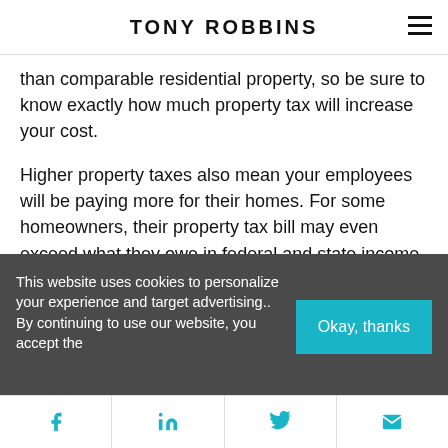TONY ROBBINS
than comparable residential property, so be sure to know exactly how much property tax will increase your cost.
Higher property taxes also mean your employees will be paying more for their homes. For some homeowners, their property tax bill may even exceed what they owe in federal and state income taxes. Talk about an unseen household expense!
This website uses cookies to personalize your experience and target advertising.. By continuing to use our website, you accept the
Facebook LinkedIn Twitter Email